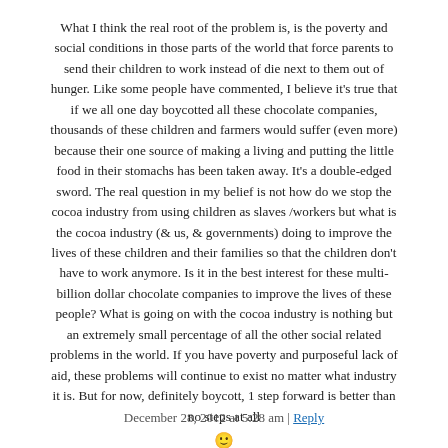What I think the real root of the problem is, is the poverty and social conditions in those parts of the world that force parents to send their children to work instead of die next to them out of hunger. Like some people have commented, I believe it's true that if we all one day boycotted all these chocolate companies, thousands of these children and farmers would suffer (even more) because their one source of making a living and putting the little food in their stomachs has been taken away. It's a double-edged sword. The real question in my belief is not how do we stop the cocoa industry from using children as slaves /workers but what is the cocoa industry (& us, & governments) doing to improve the lives of these children and their families so that the children don't have to work anymore. Is it in the best interest for these multi-billion dollar chocolate companies to improve the lives of these people? What is going on with the cocoa industry is nothing but an extremely small percentage of all the other social related problems in the world. If you have poverty and purposeful lack of aid, these problems will continue to exist no matter what industry it is. But for now, definitely boycott, 1 step forward is better than no steps at all 🙂
December 28, 2012 at 5:28 am | Reply